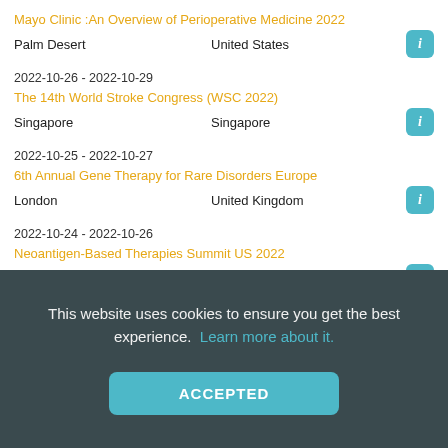Mayo Clinic :An Overview of Perioperative Medicine 2022
Palm Desert    United States
2022-10-26 - 2022-10-29
The 14th World Stroke Congress (WSC 2022)
Singapore    Singapore
2022-10-25 - 2022-10-27
6th Annual Gene Therapy for Rare Disorders Europe
London    United Kingdom
2022-10-24 - 2022-10-26
Neoantigen-Based Therapies Summit US 2022
Boston    United States
2022-10-24 - 2022-10-26
Decentralized Clinical Trial Summit
This website uses cookies to ensure you get the best experience.  Learn more about it.
ACCEPTED